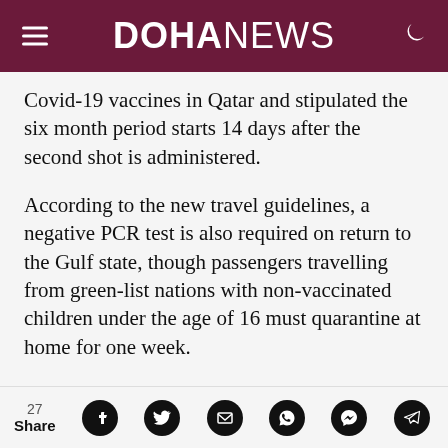DOHANEWS
Covid-19 vaccines in Qatar and stipulated the six month period starts 14 days after the second shot is administered.
According to the new travel guidelines, a negative PCR test is also required on return to the Gulf state, though passengers travelling from green-list nations with non-vaccinated children under the age of 16 must quarantine at home for one week.
Tuesday's updates came just a day after the
27 Share